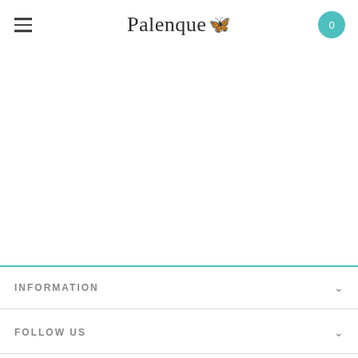Palenque 🦋 0
INFORMATION
FOLLOW US